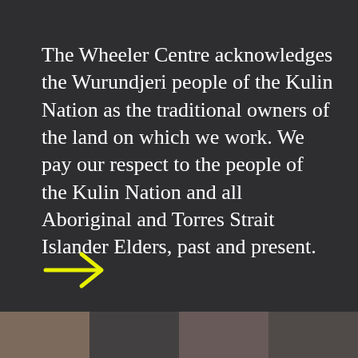The Wheeler Centre acknowledges the Wurundjeri people of the Kulin Nation as the traditional owners of the land on which we work. We pay our respect to the people of the Kulin Nation and all Aboriginal and Torres Strait Islander Elders, past and present.
[Figure (illustration): Yellow right-pointing arrow icon]
[Figure (photo): Strip of partial portrait photographs at the bottom of the page]